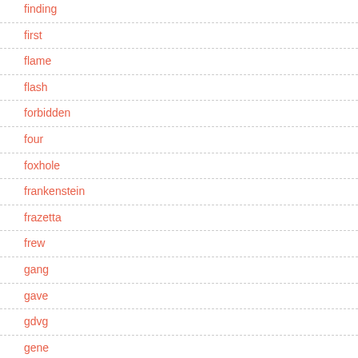finding
first
flame
flash
forbidden
four
foxhole
frankenstein
frazetta
frew
gang
gave
gdvg
gene